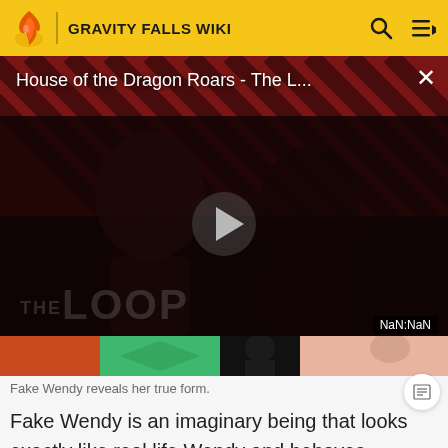GRAVITY FALLS WIKI
[Figure (screenshot): Video player showing 'House of the Dragon Roars - The L...' with a play button in the center, dark video frame with diagonal striped background pattern and 'THE LOOP' branding, NaN:NaN timestamp, and a bottom strip showing colorful cartoon images]
Fake Wendy reveals her true form.
Fake Wendy is an imaginary being that looks exactly like real life Wendy and behaves similarly to her. She was created with the purpose of making Dipper want to stay